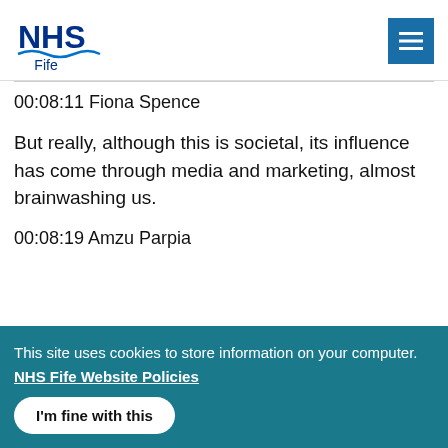NHS Fife
00:08:11 Fiona Spence
But really, although this is societal, its influence has come through media and marketing, almost brainwashing us.
00:08:19 Amzu Parpia
This site uses cookies to store information on your computer.
NHS Fife Website Policies
I'm fine with this